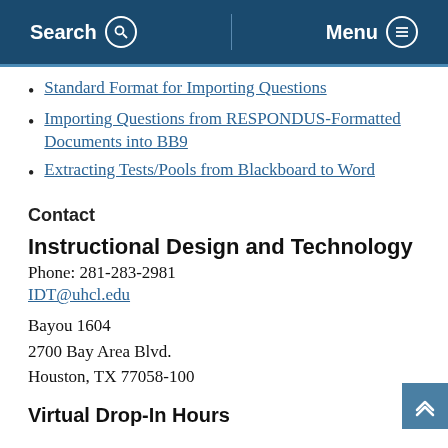Search  Menu
Standard Format for Importing Questions
Importing Questions from RESPONDUS-Formatted Documents into BB9
Extracting Tests/Pools from Blackboard to Word
Contact
Instructional Design and Technology
Phone: 281-283-2981
IDT@uhcl.edu
Bayou 1604
2700 Bay Area Blvd.
Houston, TX 77058-100
Virtual Drop-In Hours